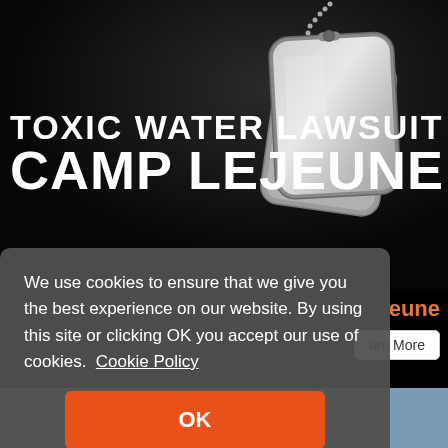[Figure (photo): Dark background with military dog tags hanging from a ball chain, silver metal tags. Text overlaid: 'TOXIC WATER LAWSUIT' and 'CAMP LEJEUNE' in large bold white uppercase letters.]
TOXIC WATER LAWSUIT CAMP LEJEUNE
We use cookies to ensure that we give you the best experience on our website. By using this site or clicking OK you accept our use of cookies.  Cookie Policy
OK